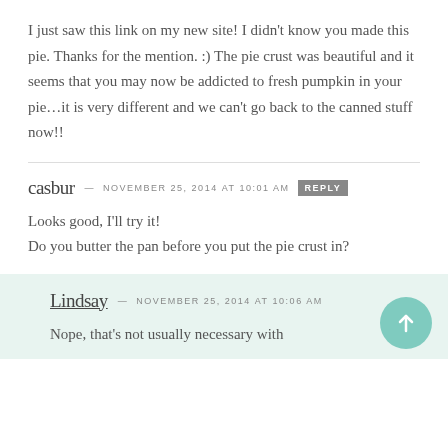I just saw this link on my new site! I didn't know you made this pie. Thanks for the mention. :) The pie crust was beautiful and it seems that you may now be addicted to fresh pumpkin in your pie...it is very different and we can't go back to the canned stuff now!!
casbur — NOVEMBER 25, 2014 at 10:01 AM  REPLY
Looks good, I'll try it!
Do you butter the pan before you put the pie crust in?
Lindsay — NOVEMBER 25, 2014 at 10:06 AM
Nope, that's not usually necessary with